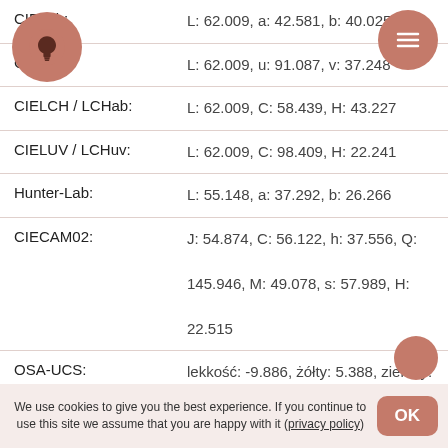[Figure (other): Lightbulb app icon in a terracotta/rosewood circle]
[Figure (other): Hamburger menu icon in a terracotta circle]
| Color Space | Values |
| --- | --- |
| CIELab: | L: 62.009, a: 42.581, b: 40.025 |
| CIELuv: | L: 62.009, u: 91.087, v: 37.248 |
| CIELCH / LCHab: | L: 62.009, C: 58.439, H: 43.227 |
| CIELUV / LCHuv: | L: 62.009, C: 98.409, H: 22.241 |
| Hunter-Lab: | L: 55.148, a: 37.292, b: 26.266 |
| CIECAM02: | J: 54.874, C: 56.122, h: 37.556, Q: 145.946, M: 49.078, s: 57.989, H: 22.515 |
| OSA-UCS: | lekkość: -9.886, żółty: 5.388, zielony: -7.401 |
| LMS: | L: 41.495, M: 22.611, S: 11.824 |
| YCbCr: | Y: 142.283, Cb: 95.319, Cr: 181.848 |
We use cookies to give you the best experience. If you continue to use this site we assume that you are happy with it (privacy policy)